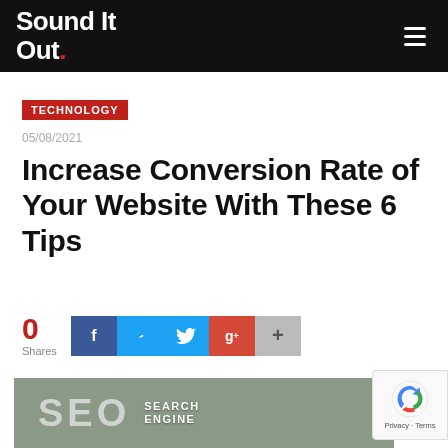Sound It Out.
TECHNOLOGY
05/08/2021
Increase Conversion Rate of Your Website With These 6 Tips
0 Shares
[Figure (screenshot): SEO image with blurred background showing 'SEO' text and 'SEARCH ENGINE' text label]
[Figure (other): reCAPTCHA badge with Google reCAPTCHA logo and Privacy - Terms text]